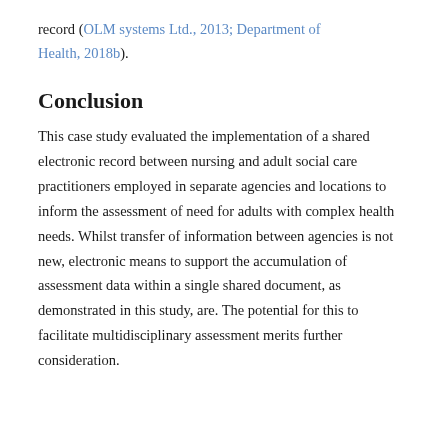record (OLM systems Ltd., 2013; Department of Health, 2018b).
Conclusion
This case study evaluated the implementation of a shared electronic record between nursing and adult social care practitioners employed in separate agencies and locations to inform the assessment of need for adults with complex health needs. Whilst transfer of information between agencies is not new, electronic means to support the accumulation of assessment data within a single shared document, as demonstrated in this study, are. The potential for this to facilitate multidisciplinary assessment merits further consideration.